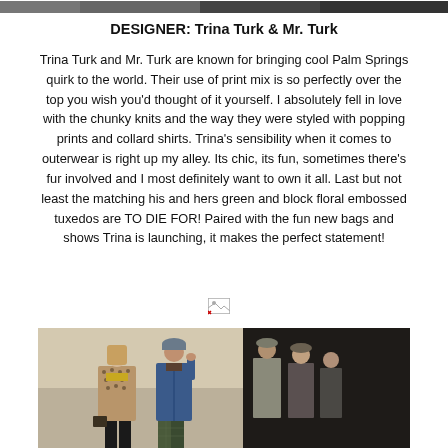[Figure (photo): Top strip showing partial fashion/runway photos at the top of the page]
DESIGNER: Trina Turk & Mr. Turk
Trina Turk and Mr. Turk are known for bringing cool Palm Springs quirk to the world. Their use of print mix is so perfectly over the top you wish you'd thought of it yourself. I absolutely fell in love with the chunky knits and the way they were styled with popping prints and collard shirts. Trina's sensibility when it comes to outerwear is right up my alley. Its chic, its fun, sometimes there's fur involved and I most definitely want to own it all. Last but not least the matching his and hers green and block floral embossed tuxedos are TO DIE FOR! Paired with the fun new bags and shows Trina is launching, it makes the perfect statement!
[Figure (photo): Small broken/loading image icon placeholder]
[Figure (photo): Fashion show backstage photo showing a female model in patterned coat with yellow top and a male model in blue cardigan with plaid pants and cap, and another man in background]